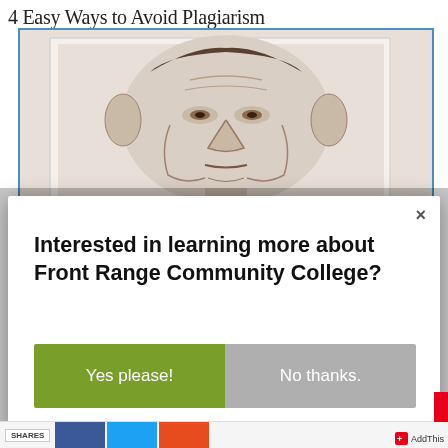4 Easy Ways to Avoid Plagiarism
[Figure (photo): Close-up engraving/illustration of Abraham Lincoln's face, shown within a framed article image box with a light blue border]
Interested in learning more about Front Range Community College?
Yes please!
No thanks.
SHARES | [social share buttons] | AddThis